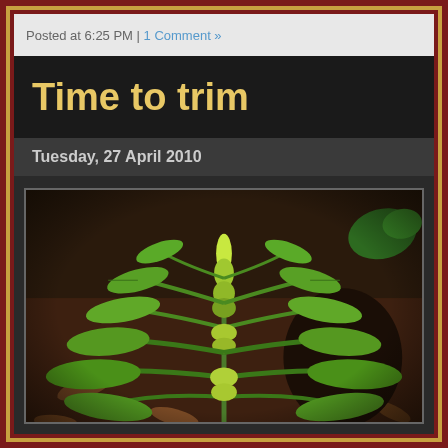Posted at 6:25 PM | 1 Comment »
Time to trim
Tuesday, 27 April 2010
[Figure (photo): A green leafy plant with elongated leaves and small flower spikes growing from a mulched garden bed with dead leaves on the ground. The photo is taken at ground level showing the plant against a dark soil/mulch background.]